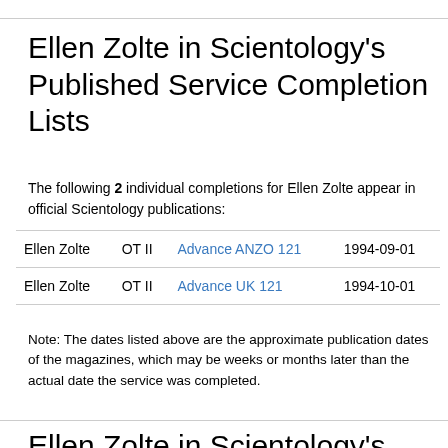Ellen Zolte in Scientology's Published Service Completion Lists
The following 2 individual completions for Ellen Zolte appear in official Scientology publications:
| Name | Service | Publication | Date |
| --- | --- | --- | --- |
| Ellen Zolte | OT II | Advance ANZO 121 | 1994-09-01 |
| Ellen Zolte | OT II | Advance UK 121 | 1994-10-01 |
Note: The dates listed above are the approximate publication dates of the magazines, which may be weeks or months later than the actual date the service was completed.
Ellen Zolte in Scientology's Publications